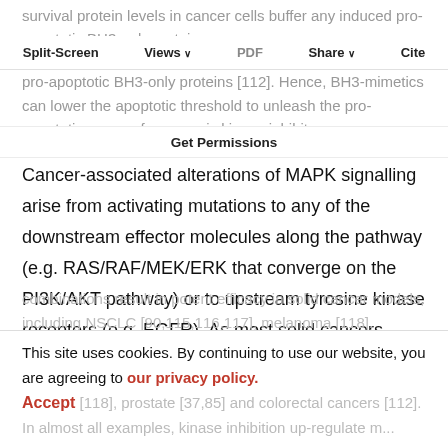survival protein levels in cancer cells buffer any induced pro-apoptotic BH3-only proteins [112]. Hence, BH3-mimetics can lower the apoptotic threshold to unleash the pro-apoptotic power of oncogenic kinase inhibitors.
Split-Screen  Views  PDF  Share  Cite  Get Permissions
Cancer-associated alterations of MAPK signalling arise from activating mutations to any of the downstream effector molecules along the pathway (e.g. RAS/RAF/MEK/ERK that converge on the PI3K/AKT pathway) or to upstream tyrosine kinase receptors (e.g. EGFR). As most solid cancers possess mutations along this signalling node [113] they are attractive targets to investigate in combination with BH3-mimetics. Such
combinations result in potent efficacy in solid cancer models, including NSCLC [90,115,116,117], melanoma [118], prostate [37,85] and colorectal cancers [112].
This site uses cookies. By continuing to use our website, you are agreeing to our privacy policy.
Accept
In almost all examples, kinase inhibition upregulates anti-